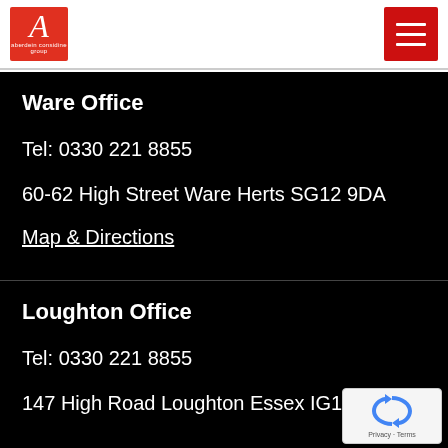[Figure (logo): Red square logo with cursive letter A and small text below, representing a property agency]
[Figure (other): Red hamburger menu button with three white horizontal lines]
Ware Office
Tel: 0330 221 8855
60-62 High Street Ware Herts SG12 9DA
Map & Directions
Loughton Office
Tel: 0330 221 8855
147 High Road Loughton Essex IG10 4LY
[Figure (logo): Google reCAPTCHA badge with recycling arrows icon and Privacy - Terms text]